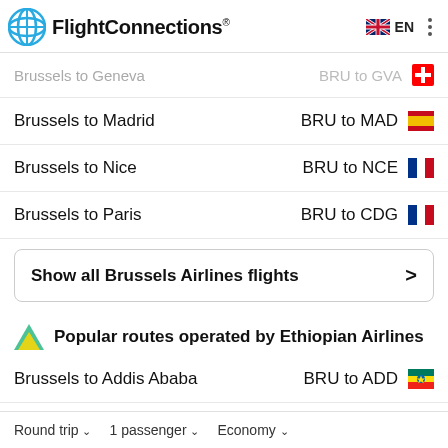FlightConnections
Brussels to Geneva — BRU to GVA
Brussels to Madrid — BRU to MAD
Brussels to Nice — BRU to NCE
Brussels to Paris — BRU to CDG
Show all Brussels Airlines flights >
Popular routes operated by Ethiopian Airlines
Brussels to Addis Ababa — BRU to ADD
Brussels to Vienna — BRU to VIE
Round trip   1 passenger   Economy